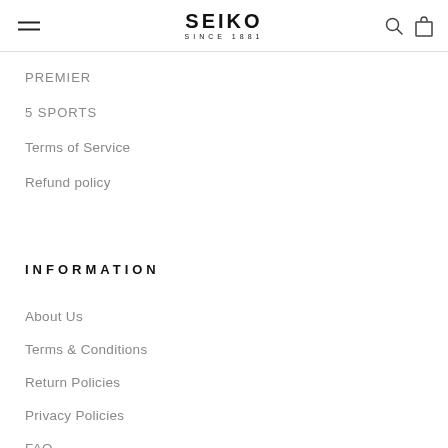SEIKO SINCE 1881
PREMIER
5 SPORTS
Terms of Service
Refund policy
INFORMATION
About Us
Terms & Conditions
Return Policies
Privacy Policies
FAQ